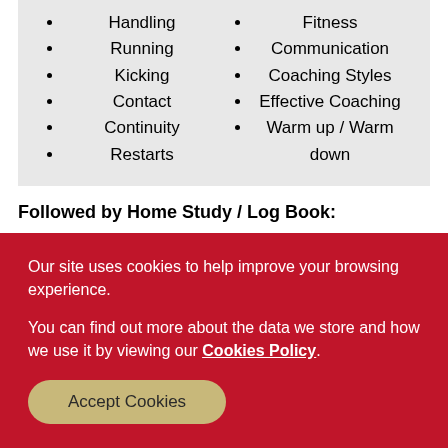Handling
Running
Kicking
Contact
Continuity
Restarts
Fitness
Communication
Coaching Styles
Effective Coaching
Warm up / Warm down
Followed by Home Study / Log Book:
Our site uses cookies to help improve your browsing experience.
You can find out more about the data we store and how we use it by viewing our Cookies Policy.
Accept Cookies